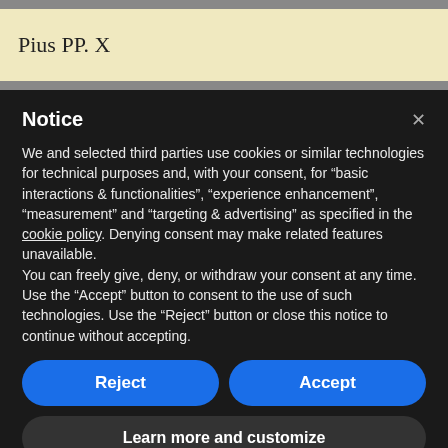Pius PP. X
Notice
We and selected third parties use cookies or similar technologies for technical purposes and, with your consent, for “basic interactions & functionalities”, “experience enhancement”, “measurement” and “targeting & advertising” as specified in the cookie policy. Denying consent may make related features unavailable.
You can freely give, deny, or withdraw your consent at any time.
Use the “Accept” button to consent to the use of such technologies. Use the “Reject” button or close this notice to continue without accepting.
Reject
Accept
Learn more and customize